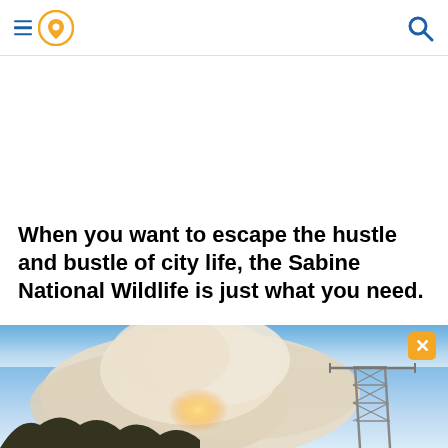[Navigation header with hamburger menu, location pin icon, and search icon]
When you want to escape the hustle and bustle of city life, the Sabine National Wildlife is just what you need.
[Figure (photo): Blue sky with large dramatic cloud formation and a sunset glow, trees silhouetted at bottom left, utility tower structure at bottom right. An advertisement banner with close button overlays the top portion.]